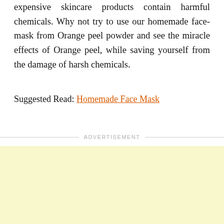expensive skincare products contain harmful chemicals. Why not try to use our homemade face-mask from Orange peel powder and see the miracle effects of Orange peel, while saving yourself from the damage of harsh chemicals.
Suggested Read: Homemade Face Mask
ADVERTISEMENT
[Figure (other): Advertisement placeholder box with light yellow background]